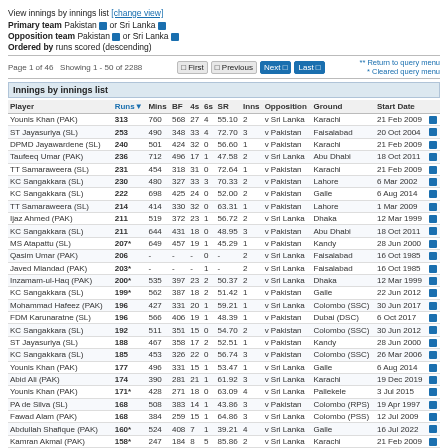View innings by innings list [change view]
Primary team Pakistan or Sri Lanka
Opposition team Pakistan or Sri Lanka
Ordered by runs scored (descending)
Page 1 of 46  Showing 1 - 50 of 2288  First Previous Next Last  Return to query menu  Cleared query menu
Innings by innings list
| Player | Runs | Mins | BF | 4s | 6s | SR | Inns | Opposition | Ground | Start Date |
| --- | --- | --- | --- | --- | --- | --- | --- | --- | --- | --- |
| Younis Khan (PAK) | 313 | 760 | 568 | 27 | 4 | 55.10 | 2 | v Sri Lanka | Karachi | 21 Feb 2009 |
| ST Jayasuriya (SL) | 253 | 490 | 348 | 33 | 4 | 72.70 | 3 | v Pakistan | Faisalabad | 20 Oct 2004 |
| DPMD Jayawardene (SL) | 240 | 501 | 424 | 32 | 0 | 56.60 | 1 | v Pakistan | Karachi | 21 Feb 2009 |
| Taufeeq Umar (PAK) | 236 | 712 | 496 | 17 | 1 | 47.58 | 2 | v Sri Lanka | Abu Dhabi | 18 Oct 2011 |
| TT Samaraweera (SL) | 231 | 454 | 318 | 31 | 0 | 72.64 | 1 | v Pakistan | Karachi | 21 Feb 2009 |
| KC Sangakkara (SL) | 230 | 480 | 327 | 33 | 3 | 70.33 | 2 | v Pakistan | Lahore | 6 Mar 2002 |
| KC Sangakkara (SL) | 222 | 698 | 425 | 24 | 0 | 52.00 | 2 | v Pakistan | Galle | 6 Aug 2014 |
| TT Samaraweera (SL) | 214 | 414 | 330 | 32 | 0 | 63.31 | 1 | v Pakistan | Lahore | 1 Mar 2009 |
| Ijaz Ahmed (PAK) | 211 | 519 | 372 | 23 | 1 | 56.72 | 2 | v Sri Lanka | Dhaka | 12 Mar 1999 |
| KC Sangakkara (SL) | 211 | 644 | 431 | 18 | 0 | 48.95 | 3 | v Pakistan | Abu Dhabi | 18 Oct 2011 |
| MS Atapattu (SL) | 207* | 649 | 457 | 19 | 1 | 45.29 | 1 | v Pakistan | Kandy | 28 Jun 2000 |
| Qasim Umar (PAK) | 206 | - | - | - | 0 | - | 2 | v Sri Lanka | Faisalabad | 16 Oct 1985 |
| Javed Miandad (PAK) | 203* | - | - | - | 1 | - | 2 | v Sri Lanka | Faisalabad | 16 Oct 1985 |
| Inzamam-ul-Haq (PAK) | 200* | 535 | 397 | 23 | 2 | 50.37 | 2 | v Sri Lanka | Dhaka | 12 Mar 1999 |
| KC Sangakkara (SL) | 199* | 562 | 387 | 18 | 2 | 51.42 | 1 | v Pakistan | Galle | 22 Jun 2012 |
| Mohammad Hafeez (PAK) | 196 | 427 | 331 | 20 | 1 | 59.21 | 1 | v Sri Lanka | Colombo (SSC) | 30 Jun 2017 |
| FDM Karunaratne (SL) | 196 | 566 | 406 | 19 | 1 | 48.39 | 1 | v Pakistan | Dubai (DSC) | 6 Oct 2017 |
| KC Sangakkara (SL) | 192 | 511 | 351 | 15 | 0 | 54.70 | 2 | v Pakistan | Colombo (SSC) | 30 Jun 2012 |
| ST Jayasuriya (SL) | 188 | 467 | 358 | 17 | 2 | 52.51 | 1 | v Pakistan | Kandy | 28 Jun 2000 |
| KC Sangakkara (SL) | 185 | 453 | 326 | 22 | 0 | 56.74 | 3 | v Pakistan | Colombo (SSC) | 26 Mar 2006 |
| Younis Khan (PAK) | 177 | 496 | 331 | 15 | 1 | 53.47 | 1 | v Sri Lanka | Galle | 6 Aug 2014 |
| Abid Ali (PAK) | 174 | 390 | 281 | 21 | 1 | 61.92 | 3 | v Sri Lanka | Karachi | 19 Dec 2019 |
| Younis Khan (PAK) | 171* | 428 | 271 | 18 | 0 | 63.09 | 4 | v Sri Lanka | Pallekele | 3 Jul 2015 |
| PA de Silva (SL) | 168 | 508 | 383 | 14 | 1 | 43.86 | 3 | v Pakistan | Colombo (RPS) | 19 Apr 1997 |
| Fawad Alam (PAK) | 168 | 384 | 259 | 15 | 1 | 64.86 | 3 | v Sri Lanka | Colombo (PSS) | 12 Jul 2009 |
| Abdullah Shafique (PAK) | 160* | 524 | 408 | 7 | 1 | 39.21 | 4 | v Sri Lanka | Galle | 16 Jul 2022 |
| Kamran Akmal (PAK) | 158* | 247 | 184 | 8 | 5 | 85.86 | 2 | v Sri Lanka | Karachi | 21 Feb 2009 |
| AD Mathews (SL) | 157* | 404 | 343 | 16 | 1 | 45.77 | 3 | v Pakistan | Abu Dhabi | 31 Dec 2013 |
| S Wettimuny (SL) | 157 | 372 | 320 | 21 | 0 | 47.57 | 1 | v Pakistan | Faisalabad | 14 Mar 1982 |
| Azhar Ali (PAK) | 157 | 453 | 295 | 9 | 0 | 53.22 | 1 | v Sri Lanka | Colombo (SSC) | 30 Jun 2012 |
| LD Chandimal (SL) | 155* | 544 | 372 | 14 | 0 | 41.66 | 1 | v Pakistan | Abu Dhabi | 28 Sep 2017 |
| Saleem Malik (PAK) | 155 | 338 | 240 | 26 | 0 | 64.58 | 4 | v Sri Lanka | Colombo (SSC) | 26 Apr 1997 |
| Haroon Rasheed (PAK) | 153 | 323 | 242 | 16 | 3 | 63.22 | 1 | v Sri Lanka | Karachi | 5 Mar 1982 |